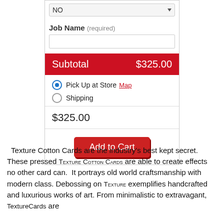[Figure (screenshot): Web form panel showing a dropdown set to NO, a Job Name required text input, a red subtotal bar showing $325.00, pickup/shipping radio options with Map link, price of $325.00, and an Add to Cart button]
Texture Cotton Cards are the industry's best kept secret. These pressed Texture Cotton Cards are able to create effects no other card can.  It portrays old world craftsmanship with modern class. Debossing on Texture exemplifies handcrafted and luxurious works of art. From minimalistic to extravagant, TextureCards are